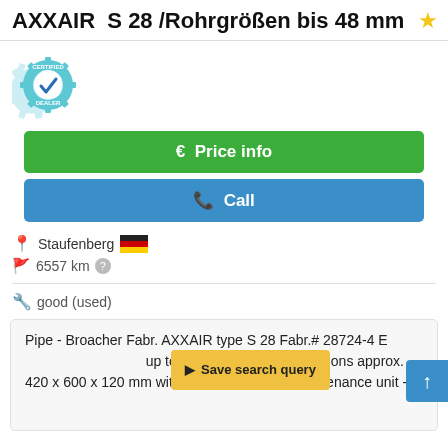AXXAIR  S 28 /Rohrgrößen bis 48 mm
[Figure (logo): Certified Dealer badge with gear icon and blue checkmark]
€  Price info
✆  Call
Staufenberg [German flag] 6557 km ?
good (used)
Pipe - Broacher Fabr. AXXAIR type S 28 Fabr.# 28724-4 E[...] up to 48 mm External dimensions approx. 420 x 600 x 120 mm with -Compressed air maintenance unit -in
Save search query